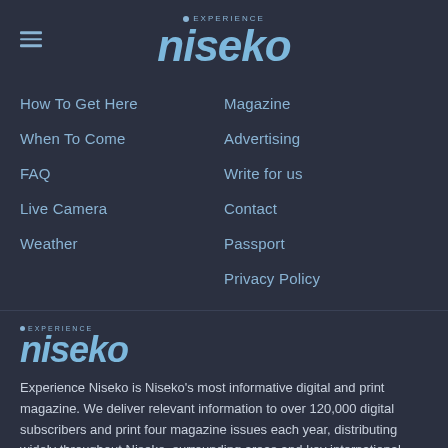EXPERIENCE niseko
How To Get Here
When To Come
FAQ
Live Camera
Weather
Magazine
Advertising
Write for us
Contact
Passport
Privacy Policy
[Figure (logo): Experience Niseko logo with dot and italic bold niseko text in light blue]
Experience Niseko is Niseko's most informative digital and print magazine. We deliver relevant information to over 120,000 digital subscribers and print four magazine issues each year, distributing widely throughout Niseko, surrounding areas and key international travel hubs.